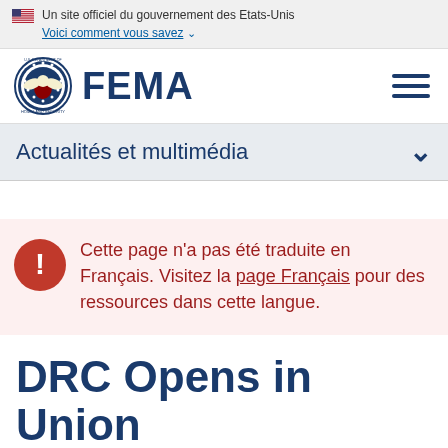Un site officiel du gouvernement des Etats-Unis
Voici comment vous savez
[Figure (logo): FEMA logo with DHS seal and FEMA wordmark in dark blue]
Actualités et multimédia
Cette page n'a pas été traduite en Français. Visitez la page Français pour des ressources dans cette langue.
DRC Opens in Union County